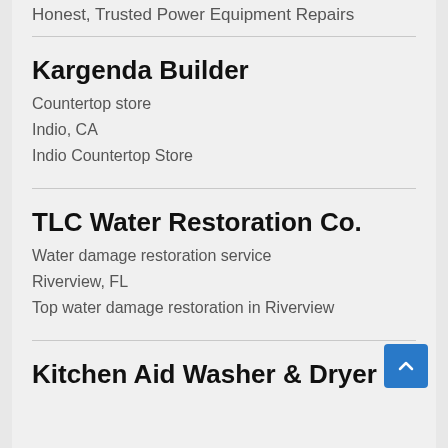Honest, Trusted Power Equipment Repairs
Kargenda Builder
Countertop store
Indio, CA
Indio Countertop Store
TLC Water Restoration Co.
Water damage restoration service
Riverview, FL
Top water damage restoration in Riverview
Kitchen Aid Washer & Dryer